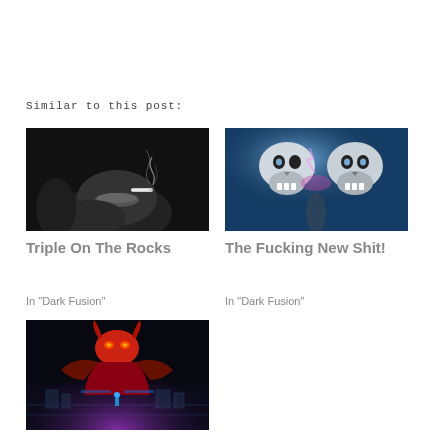Similar to this post:
[Figure (photo): Black and white photo of woman's face with cigarette smoke]
Triple On The Rocks
In "Dark Fusion"
[Figure (photo): Surreal blue-lit skulls with glowing eyes digital art]
The Fucking New Shit!
In "Dark Fusion"
[Figure (photo): Dark fantasy demon/mech figure with neon pink and blue lighting]